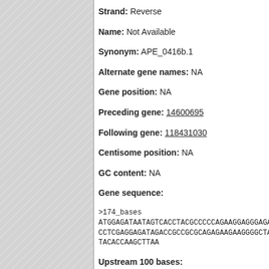Strand: Reverse
Name: Not Available
Synonym: APE_0416b.1
Alternate gene names: NA
Gene position: NA
Preceding gene: 14600695
Following gene: 118431030
Centisome position: NA
GC content: NA
Gene sequence:
>174_bases
ATGGAGATAATAGTCACCTACGCCCCCCAGAAGGAGGGAGAAAAGGAT
CCTCGAGGAGATAGACCGCCGCGCAGAGAAGAAGGGGCTAACAGGA
TACACCAAGCTTAA
Upstream 100 bases: